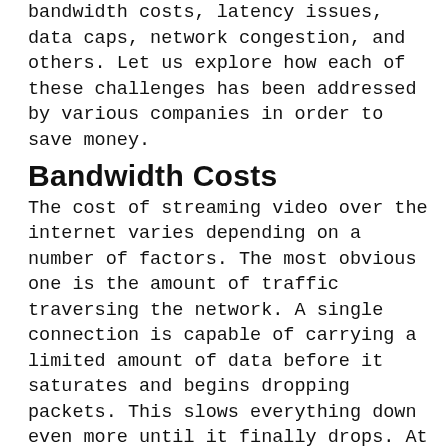bandwidth costs, latency issues, data caps, network congestion, and others. Let us explore how each of these challenges has been addressed by various companies in order to save money.
Bandwidth Costs
The cost of streaming video over the internet varies depending on a number of factors. The most obvious one is the amount of traffic traversing the network. A single connection is capable of carrying a limited amount of data before it saturates and begins dropping packets. This slows everything down even more until it finally drops. At that point, all your users will get is a frozen screen. This limits the amount of data that can be carried over any given connection. It also depends on the type of connection used – cable, fiber optic, DSL, and so forth. There is a lot of variability in how much bandwidth a user needs to stream a video using traditional methods.